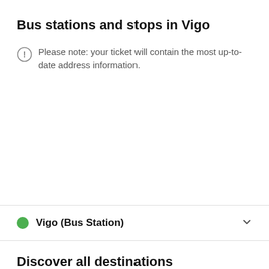Bus stations and stops in Vigo
Please note: your ticket will contain the most up-to-date address information.
Vigo (Bus Station)
Discover all destinations